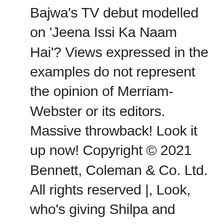Bajwa's TV debut modelled on 'Jeena Issi Ka Naam Hai'? Views expressed in the examples do not represent the opinion of Merriam-Webster or its editors. Massive throwback! Look it up now! Copyright © 2021 Bennett, Coleman & Co. Ltd. All rights reserved |, Look, who's giving Shilpa and Shamita Shetty company in this selfie, Exclusive! Same reason why although I'd like to see some Buffy the Vampire Slayer content, it just wouldn't work at least for the survivors since the scoobies have bested way worse. of ... Front: Look Who's 2! My words are being misconstrued, Bhagyashree Limaye makes her Bollywood debut with Satyameva Jayate 2, World Saree Day: Sai Tamhankar to Sonalee Kulkarni; Marathi actresses who nailed the saree look, Bhojpuri actress Gargi Pandit gives us a perfect motivation with her latest Insta post, Photos: Monalisa shows her glam avatar in her latest Instagram post, Watch: Nidhi Jha grooves to Shahid Kapoor and Amrita Rao's song 'O Jiji', 'Tohare Pyar Me Pagal Bani': Poonam Dubey starts shooting for her next, Sapna Gill's latest Instagram post gives